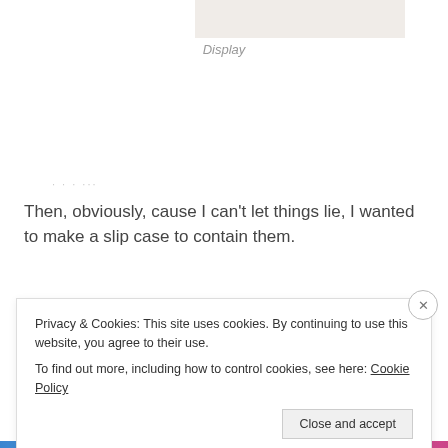[Figure (photo): Partial photo at top of page, cropped, showing a faint image on light background]
Display
Then, obviously, cause I can't let things lie, I wanted to make a slip case to contain them.
The project dictated that it needed to have a binding
Privacy & Cookies: This site uses cookies. By continuing to use this website, you agree to their use.
To find out more, including how to control cookies, see here: Cookie Policy